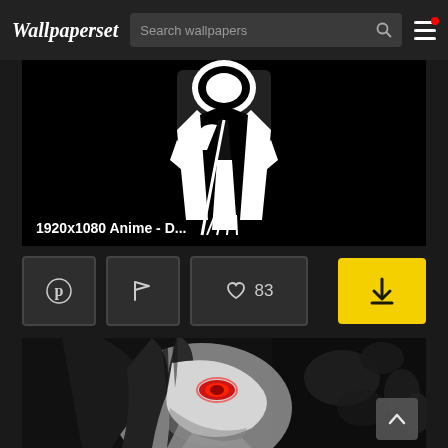Wallpaperset — Search wallpapers
[Figure (illustration): Black and white anime character illustration holding a scythe or weapon on dark background]
1920x1080 Anime - D...
[Figure (other): Pinterest icon button]
[Figure (other): Flag icon button]
[Figure (other): Heart/like icon with count 83]
[Figure (other): Yellow download button]
[Figure (photo): Dark anime character with red eyes and white hair on black/grey background]